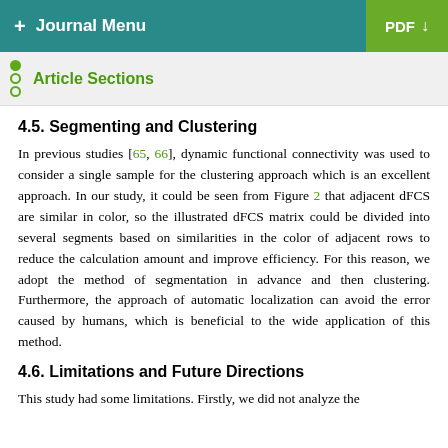+ Journal Menu   PDF ↓
Article Sections
4.5. Segmenting and Clustering
In previous studies [65, 66], dynamic functional connectivity was used to consider a single sample for the clustering approach which is an excellent approach. In our study, it could be seen from Figure 2 that adjacent dFCS are similar in color, so the illustrated dFCS matrix could be divided into several segments based on similarities in the color of adjacent rows to reduce the calculation amount and improve efficiency. For this reason, we adopt the method of segmentation in advance and then clustering. Furthermore, the approach of automatic localization can avoid the error caused by humans, which is beneficial to the wide application of this method.
4.6. Limitations and Future Directions
This study had some limitations. Firstly, we did not analyze the